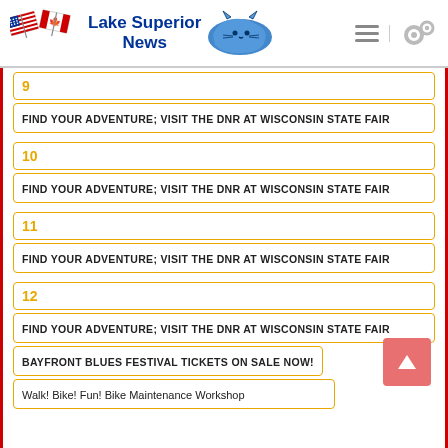Lake Superior News
9
FIND YOUR ADVENTURE; VISIT THE DNR AT WISCONSIN STATE FAIR
10
FIND YOUR ADVENTURE; VISIT THE DNR AT WISCONSIN STATE FAIR
11
FIND YOUR ADVENTURE; VISIT THE DNR AT WISCONSIN STATE FAIR
12
FIND YOUR ADVENTURE; VISIT THE DNR AT WISCONSIN STATE FAIR
BAYFRONT BLUES FESTIVAL TICKETS ON SALE NOW!
Walk! Bike! Fun! Bike Maintenance Workshop